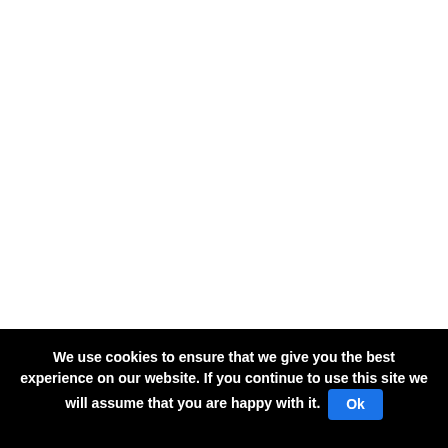According to Livekindly In a bid to encourage people to eat less meat,
We use cookies to ensure that we give you the best experience on our website. If you continue to use this site we will assume that you are happy with it.